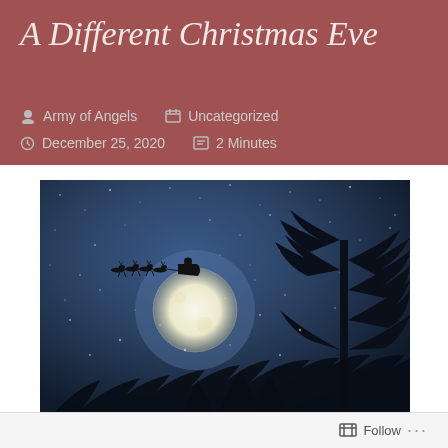A Different Christmas Eve
Army of Angels   Uncategorized
December 25, 2020   2 Minutes
[Figure (photo): Night sky with stars and a large full moon. The silhouette of Santa's sleigh with reindeer flies across the moon. Bare winter tree silhouettes frame the right and lower edges of the image. The sky is a deep blue with scattered snowflakes or stars visible throughout.]
Follow